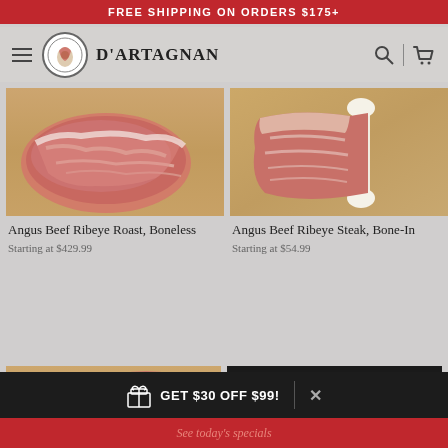FREE SHIPPING ON ORDERS $175+
[Figure (logo): D'Artagnan logo with navigation header including hamburger menu, circular logo with bird illustration, brand name D'ARTAGNAN, search icon, and cart icon]
[Figure (photo): Angus Beef Ribeye Roast Boneless product photo showing raw meat on wooden cutting board]
Angus Beef Ribeye Roast, Boneless
Starting at $429.99
[Figure (photo): Angus Beef Ribeye Steak Bone-In product photo showing raw bone-in steak on wooden surface]
Angus Beef Ribeye Steak, Bone-In
Starting at $54.99
[Figure (photo): Partial product image with BESTSELLER badge showing beef cut on wooden board]
[Figure (photo): Partial dark promotional image with cursive text overlay]
GET $30 OFF $99!
See today's specials